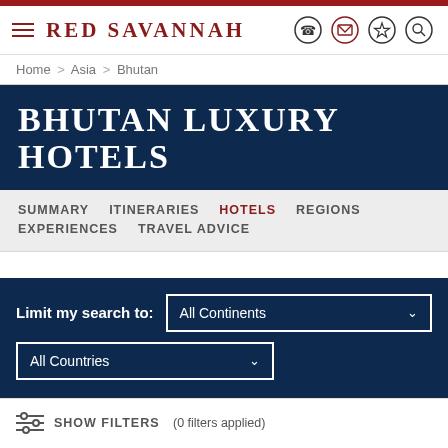Red Savannah
Home > Asia > Bhutan
BHUTAN LUXURY HOTELS
SUMMARY   ITINERARIES   HOTELS   REGIONS   EXPERIENCES   TRAVEL ADVICE
Limit my search to: All Continents  All Countries
SHOW FILTERS (0 filters applied)